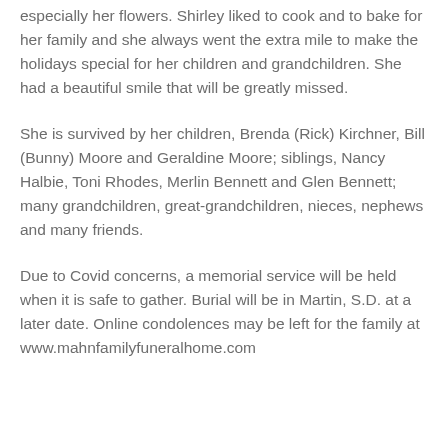especially her flowers. Shirley liked to cook and to bake for her family and she always went the extra mile to make the holidays special for her children and grandchildren. She had a beautiful smile that will be greatly missed.
She is survived by her children, Brenda (Rick) Kirchner, Bill (Bunny) Moore and Geraldine Moore; siblings, Nancy Halbie, Toni Rhodes, Merlin Bennett and Glen Bennett; many grandchildren, great-grandchildren, nieces, nephews and many friends.
Due to Covid concerns, a memorial service will be held when it is safe to gather. Burial will be in Martin, S.D. at a later date. Online condolences may be left for the family at www.mahnfamilyfuneralhome.com